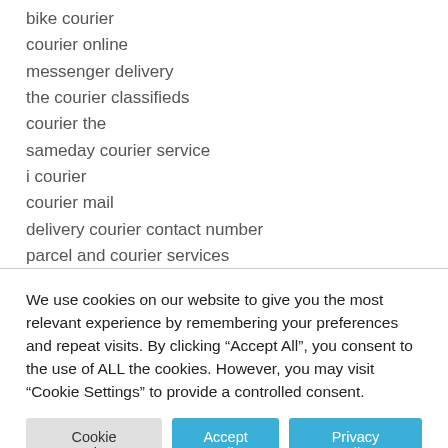bike courier
courier online
messenger delivery
the courier classifieds
courier the
sameday courier service
i courier
courier mail
delivery courier contact number
parcel and courier services
business couriers
We use cookies on our website to give you the most relevant experience by remembering your preferences and repeat visits. By clicking “Accept All”, you consent to the use of ALL the cookies. However, you may visit “Cookie Settings” to provide a controlled consent.
Cookie Settings | Accept All | Privacy Policy